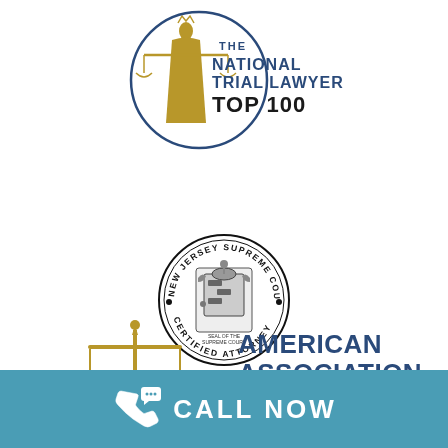[Figure (logo): The National Trial Lawyers Top 100 logo with golden figure of justice holding scales and blue circular text border]
[Figure (logo): New Jersey Supreme Court Certified Attorney circular seal with state coat of arms in center]
[Figure (logo): American Association for Justice logo with tan scales of justice on left and blue text on right]
CALL NOW